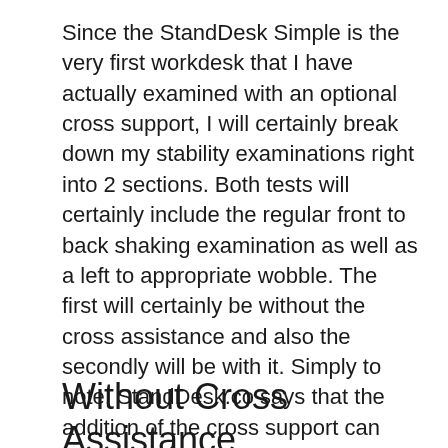Since the StandDesk Simple is the very first workdesk that I have actually examined with an optional cross support, I will certainly break down my stability examinations right into 2 sections. Both tests will certainly include the regular front to back shaking examination as well as a left to appropriate wobble. The first will certainly be without the cross assistance and also the secondly will be with it. Simply to note, StandDesk.co says that the addition of the cross support can boost stability by as much as 15%. I have no concept just how they came up with that number.
Without Cross Assistance